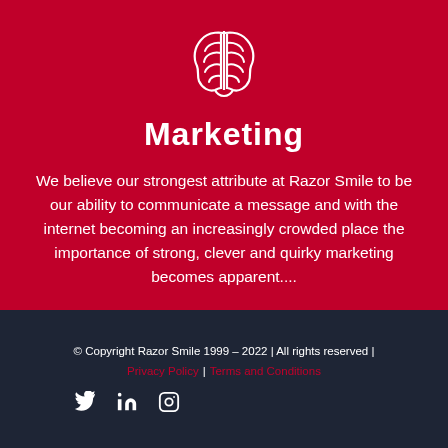[Figure (illustration): White outline brain icon on red background]
Marketing
We believe our strongest attribute at Razor Smile to be our ability to communicate a message and with the internet becoming an increasingly crowded place the importance of strong, clever and quirky marketing becomes apparent....
© Copyright Razor Smile 1999 – 2022 | All rights reserved | Privacy Policy | Terms and Conditions